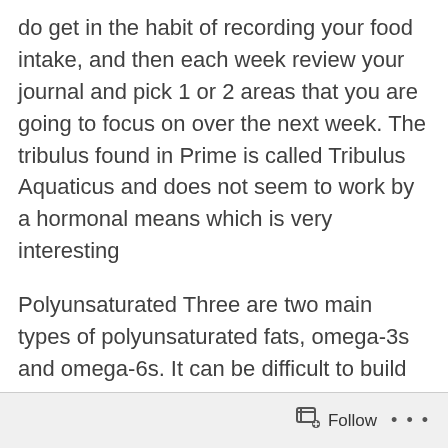do get in the habit of recording your food intake, and then each week review your journal and pick 1 or 2 areas that you are going to focus on over the next week. The tribulus found in Prime is called Tribulus Aquaticus and does not seem to work by a hormonal means which is very interesting
Polyunsaturated Three are two main types of polyunsaturated fats, omega-3s and omega-6s. It can be difficult to build muscle. " These fats are very healthy for you, and may actually improve many cardiovascular conditions when eaten in moderation. One, it tones the muscles well and helps keep them healthy and well. By using the suggestions here, you are on your way to building the body you desire
Follow ...